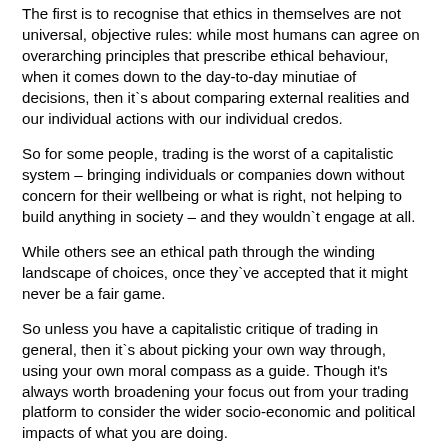The first is to recognise that ethics in themselves are not universal, objective rules: while most humans can agree on overarching principles that prescribe ethical behaviour, when it comes down to the day-to-day minutiae of decisions, then it`s about comparing external realities and our individual actions with our individual credos.
So for some people, trading is the worst of a capitalistic system – bringing individuals or companies down without concern for their wellbeing or what is right, not helping to build anything in society – and they wouldn`t engage at all.
While others see an ethical path through the winding landscape of choices, once they`ve accepted that it might never be a fair game.
So unless you have a capitalistic critique of trading in general, then it`s about picking your own way through, using your own moral compass as a guide. Though it's always worth broadening your focus out from your trading platform to consider the wider socio-economic and political impacts of what you are doing.